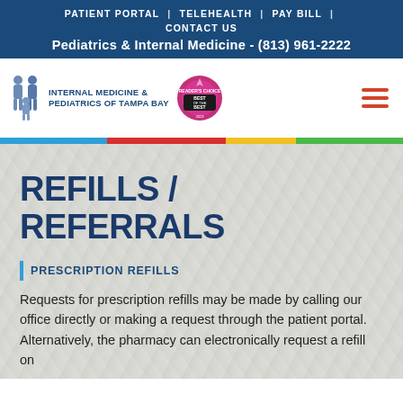PATIENT PORTAL | TELEHEALTH | PAY BILL | CONTACT US
Pediatrics & Internal Medicine - (813) 961-2222
[Figure (logo): Internal Medicine & Pediatrics of Tampa Bay logo with silhouettes of people and a 'Best of the Best' badge]
REFILLS / REFERRALS
PRESCRIPTION REFILLS
Requests for prescription refills may be made by calling our office directly or making a request through the patient portal.  Alternatively, the pharmacy can electronically request a refill on